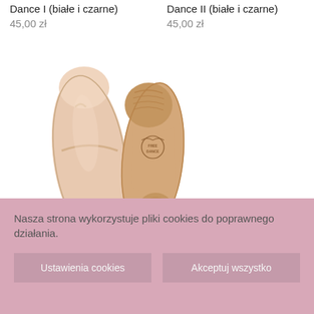Dance I (białe i czarne)
45,00 zł
Dance II (białe i czarne)
45,00 zł
[Figure (photo): Two ballet shoes (pink/nude leather): one viewed from the top, one viewed from the sole, showing Free Dance branding on the bottom]
Baletki skórzane Free Dance cieliste
65,00 zł
Nasza strona wykorzystuje pliki cookies do poprawnego działania.
Ustawienia cookies
Akceptuj wszystko